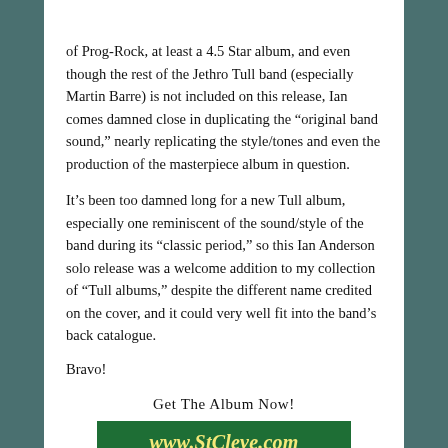of Prog-Rock, at least a 4.5 Star album, and even though the rest of the Jethro Tull band (especially Martin Barre) is not included on this release, Ian comes damned close in duplicating the “original band sound,” nearly replicating the style/tones and even the production of the masterpiece album in question.
It’s been too damned long for a new Tull album, especially one reminiscent of the sound/style of the band during its “classic period,” so this Ian Anderson solo release was a welcome addition to my collection of “Tull albums,” despite the different name credited on the cover, and it could very well fit into the band’s back catalogue.
Bravo!
Get The Album Now!
[Figure (other): Green banner with www.StCleve.com in yellow italic text and small subtitle text below]